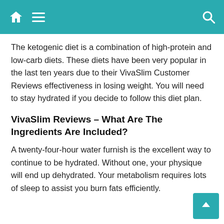Navigation bar with home, menu, and search icons
The ketogenic diet is a combination of high-protein and low-carb diets. These diets have been very popular in the last ten years due to their VivaSlim Customer Reviews effectiveness in losing weight. You will need to stay hydrated if you decide to follow this diet plan.
VivaSlim Reviews – What Are The Ingredients Are Included?
A twenty-four-hour water furnish is the excellent way to continue to be hydrated. Without one, your physique will end up dehydrated. Your metabolism requires lots of sleep to assist you burn fats efficiently.